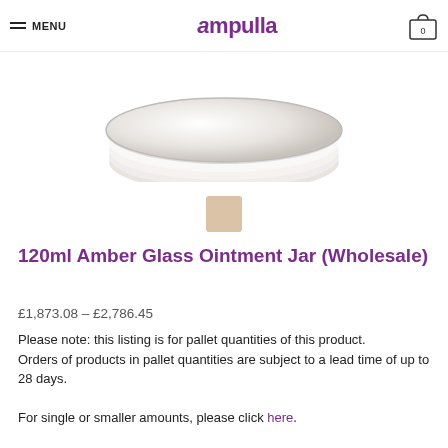MENU | Ampulla | Cart (0)
[Figure (photo): Top portion of a glass ointment jar, white/grey tones, cropped view from above showing the rim and lid area]
[Figure (photo): Small thumbnail image of amber glass ointment jar]
120ml Amber Glass Ointment Jar (Wholesale)
£1,873.08 – £2,786.45
Please note: this listing is for pallet quantities of this product.
Orders of products in pallet quantities are subject to a lead time of up to 28 days.

For single or smaller amounts, please click here.